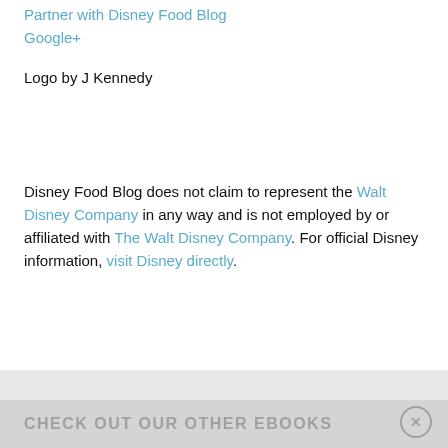Partner with Disney Food Blog
Google+
Logo by J Kennedy
Disney Food Blog does not claim to represent the Walt Disney Company in any way and is not employed by or affiliated with The Walt Disney Company. For official Disney information, visit Disney directly.
CHECK OUT OUR OTHER EBOOKS